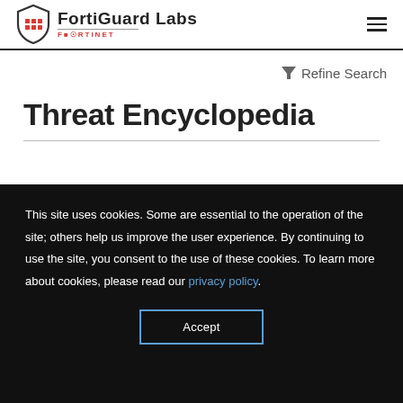FortiGuard Labs FORTINET
Refine Search
Threat Encyclopedia
This site uses cookies. Some are essential to the operation of the site; others help us improve the user experience. By continuing to use the site, you consent to the use of these cookies. To learn more about cookies, please read our privacy policy.
Accept